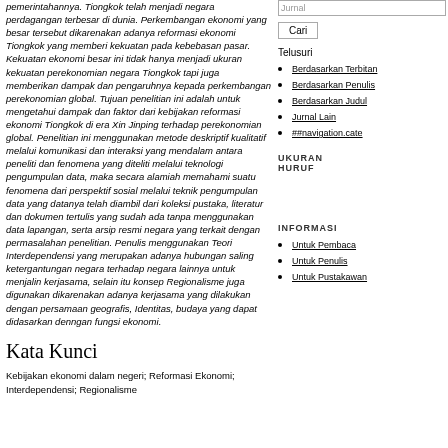pemerintahannya. Tiongkok telah menjadi negara perdagangan terbesar di dunia. Perkembangan ekonomi yang besar tersebut dikarenakan adanya reformasi ekonomi Tiongkok yang memberi kekuatan pada kebebasan pasar. Kekuatan ekonomi besar ini tidak hanya menjadi ukuran kekuatan perekonomian negara Tiongkok tapi juga memberikan dampak dan pengaruhnya kepada perkembangan perekonomian global. Tujuan penelitian ini adalah untuk mengetahui dampak dan faktor dari kebijakan reformasi ekonomi Tiongkok di era Xin Jinping terhadap perekonomian global. Penelitian ini menggunakan metode deskriptif kualitatif melalui komunikasi dan interaksi yang mendalam antara peneliti dan fenomena yang diteliti melalui teknologi pengumpulan data, maka secara alamiah memahami suatu fenomena dari perspektif sosial melalui teknik pengumpulan data yang datanya telah diambil dari koleksi pustaka, literatur dan dokumen tertulis yang sudah ada tanpa menggunakan data lapangan, serta arsip resmi negara yang terkait dengan permasalahan penelitian. Penulis menggunakan Teori Interdependensi yang merupakan adanya hubungan saling ketergantungan negara terhadap negara lainnya untuk menjalin kerjasama, selain itu konsep Regionalisme juga digunakan dikarenakan adanya kerjasama yang dilakukan dengan persamaan geografis, Identitas, budaya yang dapat didasarkan denngan fungsi ekonomi.
Kata Kunci
Kebijakan ekonomi dalam negeri; Reformasi Ekonomi; Interdependensi; Regionalisme
Jurnal
Cari
Telusuri
Berdasarkan Terbitan
Berdasarkan Penulis
Berdasarkan Judul
Jurnal Lain
##navigation.cate
UKURAN HURUF
INFORMASI
Untuk Pembaca
Untuk Penulis
Untuk Pustakawan